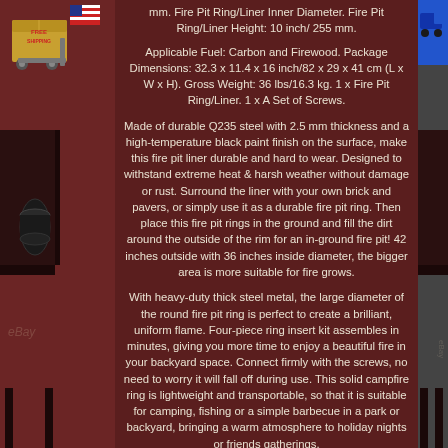mm. Fire Pit Ring/Liner Inner Diameter. Fire Pit Ring/Liner Height: 10 inch/ 255 mm.
Applicable Fuel: Carbon and Firewood. Package Dimensions: 32.3 x 11.4 x 16 inch/82 x 29 x 41 cm (L x W x H). Gross Weight: 36 lbs/16.3 kg. 1 x Fire Pit Ring/Liner. 1 x A Set of Screws.
Made of durable Q235 steel with 2.5 mm thickness and a high-temperature black paint finish on the surface, make this fire pit liner durable and hard to wear. Designed to withstand extreme heat & harsh weather without damage or rust. Surround the liner with your own brick and pavers, or simply use it as a durable fire pit ring. Then place this fire pit rings in the ground and fill the dirt around the outside of the rim for an in-ground fire pit! 42 inches outside with 36 inches inside diameter, the bigger area is more suitable for fire grows.
With heavy-duty thick steel metal, the large diameter of the round fire pit ring is perfect to create a brilliant, uniform flame. Four-piece ring insert kit assembles in minutes, giving you more time to enjoy a beautiful fire in your backyard space. Connect firmly with the screws, no need to worry it will fall off during use. This solid campfire ring is lightweight and transportable, so that it is suitable for camping, fishing or a simple barbecue in a park or backyard, bringing a warm atmosphere to holiday nights or friends gatherings.
36 Diameter Fire Pit Ring. 24 , 36 , 42 , 45 Inch. 6 Sizes of